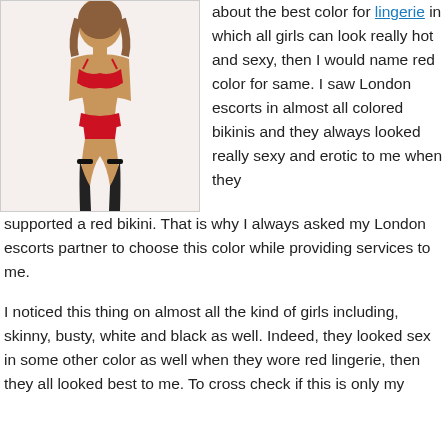[Figure (photo): Woman wearing red lingerie (bra, garter belt, underwear) with black stockings against a light background]
about the best color for lingerie in which all girls can look really hot and sexy, then I would name red color for same. I saw London escorts in almost all colored bikinis and they always looked really sexy and erotic to me when they supported a red bikini. That is why I always asked my London escorts partner to choose this color while providing services to me.
I noticed this thing on almost all the kind of girls including, skinny, busty, white and black as well. Indeed, they looked sex in some other color as well when they wore red lingerie, then they all looked best to me. To cross check if this is only my